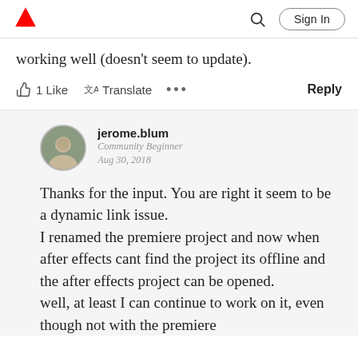[Figure (logo): Adobe logo - red triangle/letter A mark]
working well (doesn't seem to update).
1 Like   Translate   ...   Reply
jerome.blum
Community Beginner
Aug 30, 2018
Thanks for the input. You are right it seem to be a dynamic link issue. I renamed the premiere project and now when after effects cant find the project its offline and the after effects project can be opened.
well, at least I can continue to work on it, even though not with the premiere